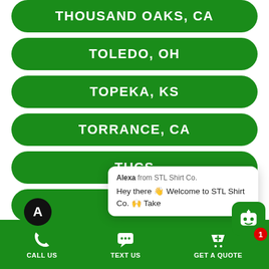THOUSAND OAKS, CA
TOLEDO, OH
TOPEKA, KS
TORRANCE, CA
TUCS[on, AZ] (partially obscured)
TULS[a, OK] (partially obscured)
VALLEJO, CA
[Figure (screenshot): Chat popup from Alexa from STL Shirt Co. saying: Hey there 👋 Welcome to STL Shirt Co. 🙌 Take...]
CALL US  TEXT US  GET A QUOTE